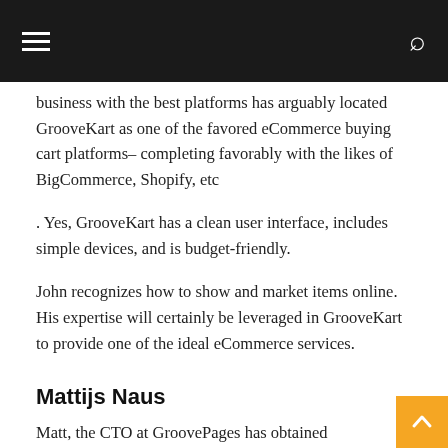Navigation bar with hamburger menu and search icon
business with the best platforms has arguably located GrooveKart as one of the favored eCommerce buying cart platforms– completing favorably with the likes of BigCommerce, Shopify, etc
. Yes, GrooveKart has a clean user interface, includes simple devices, and is budget-friendly.
John recognizes how to show and market items online. His expertise will certainly be leveraged in GrooveKart to provide one of the ideal eCommerce services.
Mattijs Naus
Matt, the CTO at GroovePages has obtained